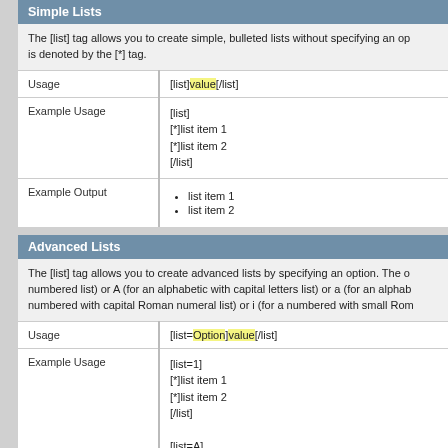Simple Lists
The [list] tag allows you to create simple, bulleted lists without specifying an option. Each item is denoted by the [*] tag.
|  |  |
| --- | --- |
| Usage | [list]value[/list] |
| Example Usage | [list]
[*]list item 1
[*]list item 2
[/list] |
| Example Output | • list item 1
• list item 2 |
Advanced Lists
The [list] tag allows you to create advanced lists by specifying an option. The option can be 1 (for a numbered list) or A (for an alphabetic with capital letters list) or a (for an alphabetic list) or I (for a numbered with capital Roman numeral list) or i (for a numbered with small Roman numeral list).
|  |  |
| --- | --- |
| Usage | [list=Option]value[/list] |
| Example Usage | [list=1]
[*]list item 1
[*]list item 2
[/list]

[list=A]
[*]list item 1 |